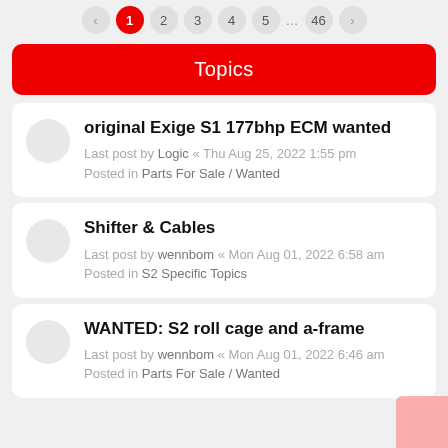1 2 3 4 5 … 46
Topics
original Exige S1 177bhp ECM wanted — Last post by Logic « Thu Aug 25, 2022 1:55 pm — Posted in Parts For Sale / Wanted
Shifter & Cables — Last post by wennbom « Mon Aug 01, 2022 6:58 am — Posted in S2 Specific Topics
WANTED: S2 roll cage and a-frame — Last post by wennbom « Mon Aug 01, 2022 6:46 am — Posted in Parts For Sale / Wanted